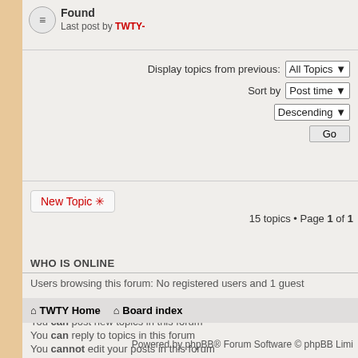Found
Last post by TWTY-
Display topics from previous: All Topics
Sort by Post time
Descending
Go
New Topic *
15 topics • Page 1 of 1
WHO IS ONLINE
Users browsing this forum: No registered users and 1 guest
FORUM PERMISSIONS
You can post new topics in this forum
You can reply to topics in this forum
You cannot edit your posts in this forum
You cannot delete your posts in this forum
You cannot post attachments in this forum
⌂ TWTY Home  ⌂ Board index
Powered by phpBB® Forum Software © phpBB Limi